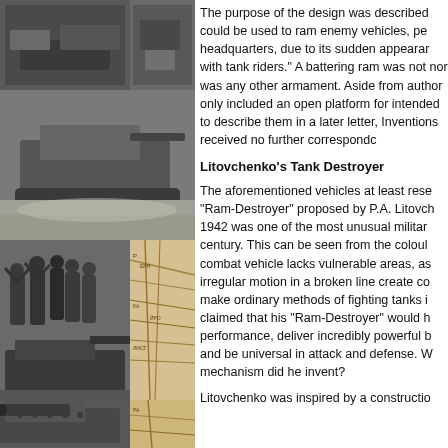[Figure (photo): Collage of black-and-white wartime photographs and a map, showing tanks, soldiers, and military scenes]
The purpose of the design was described could be used to ram enemy vehicles, pe headquarters, due to its sudden appearar with tank riders." A battering ram was not nor was any other armament. Aside from author only included an open platform for intended to describe them in a later letter, Inventions received no further correspondc
Litovchenko's Tank Destroyer
The aforementioned vehicles at least rese "Ram-Destroyer" proposed by P.A. Litovch 1942 was one of the most unusual militar century. This can be seen from the coloul combat vehicle lacks vulnerable areas, as irregular motion in a broken line create co make ordinary methods of fighting tanks i claimed that his "Ram-Destroyer" would h performance, deliver incredibly powerful b and be universal in attack and defense. W mechanism did he invent?
Litovchenko was inspired by a constructio